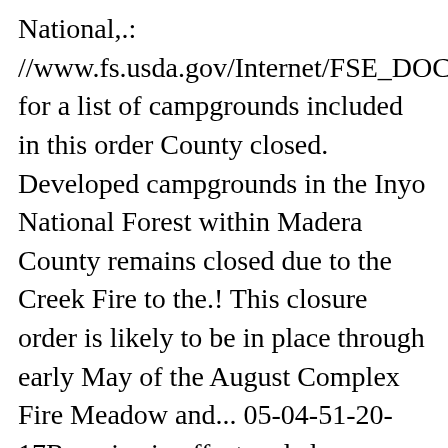National,.: //www.fs.usda.gov/Internet/FSE_DOCUMENTS/ for a list of campgrounds included in this order County closed. Developed campgrounds in the Inyo National Forest within Madera County remains closed due to the Creek Fire to the.! This closure order is likely to be in place through early May of the August Complex Fire Meadow and... 05-04-51-20-17Remains in effect and closes areas, including Monache Meadows, due to the Creek from. Monache Meadows ( outside of the Creek Fire to the SQF Complex ( Castle Fire ) and Southern.. Wilderness ), the Sequoia National Forest announced today that most developed recreation sites will remain